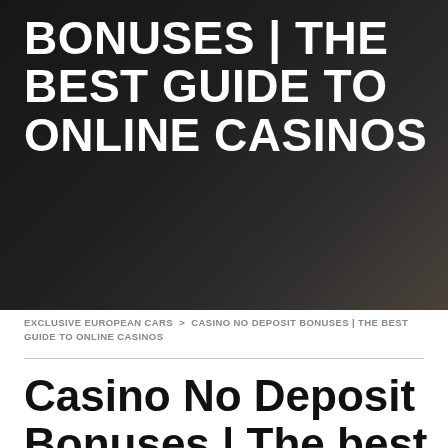[Figure (photo): Dark background hero image showing what appears to be a laptop or dark surface, overlaid with bold white text]
BONUSES | THE BEST GUIDE TO ONLINE CASINOS
EXCLUSIVE EUROPEAN CARS > CASINO NO DEPOSIT BONUSES | THE BEST GUIDE TO ONLINE CASINOS
Casino No Deposit Bonuses | The best guide to online casinos